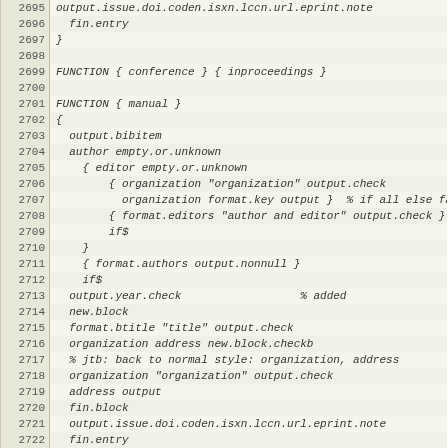Code listing lines 2695-2725, BibTeX style file source code
| line | code |
| --- | --- |
| 2695 | output.issue.doi.coden.isxn.lccn.url.eprint.note |
| 2696 |   fin.entry |
| 2697 | } |
| 2698 |  |
| 2699 | FUNCTION { conference } { inproceedings } |
| 2700 |  |
| 2701 | FUNCTION { manual } |
| 2702 | { |
| 2703 |   output.bibitem |
| 2704 |   author empty.or.unknown |
| 2705 |     { editor empty.or.unknown |
| 2706 |         { organization "organization" output.check |
| 2707 |           organization format.key output }  % if all else fails, use key |
| 2708 |         { format.editors "author and editor" output.check } |
| 2709 |         if$ |
| 2710 |     } |
| 2711 |     { format.authors output.nonnull } |
| 2712 |     if$ |
| 2713 |   output.year.check                  % added |
| 2714 |   new.block |
| 2715 |   format.btitle "title" output.check |
| 2716 |   organization address new.block.checkb |
| 2717 |   % jtb: back to normal style: organization, address |
| 2718 |   organization "organization" output.check |
| 2719 |   address output |
| 2720 |   fin.block |
| 2721 |   output.issue.doi.coden.isxn.lccn.url.eprint.note |
| 2722 |   fin.entry |
| 2723 | } |
| 2724 |  |
| 2725 | FUNCTION { mastersthesis } |